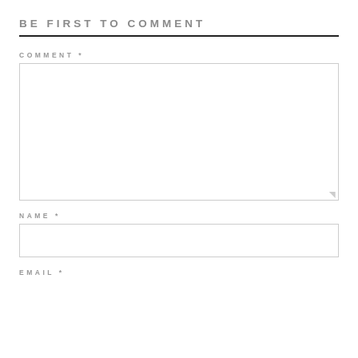BE FIRST TO COMMENT
COMMENT *
NAME *
EMAIL *